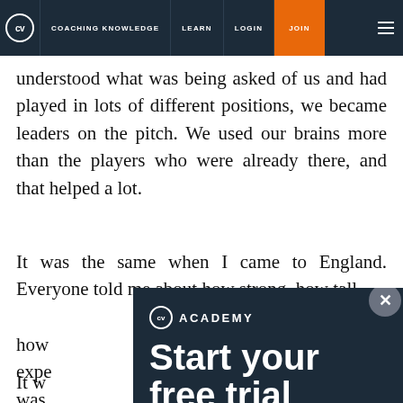CV | COACHING KNOWLEDGE | LEARN | LOGIN | JOIN
understood what was being asked of us and had played in lots of different positions, we became leaders on the pitch. We used our brains more than the players who were already there, and that helped a lot.
It was the same when I came to England. Everyone told me about how strong, how tall, how [obscured by popup] expe[rience] was [the] Eng[lish game]
It w[as about] posi[tions]
[Figure (screenshot): CV Academy popup advertisement with dark navy background showing logo, 'ACADEMY' text, and 'Start your free trial today' headline with a close button]